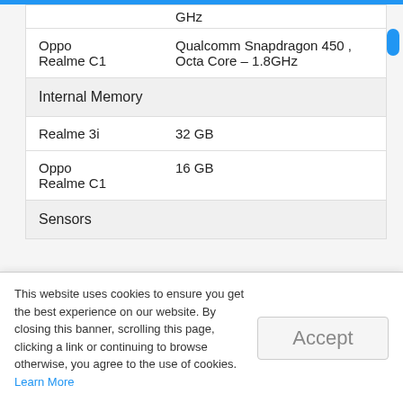| Device | Specification |
| --- | --- |
|  | GHz |
| Oppo
Realme C1 | Qualcomm Snapdragon 450 , Octa Core – 1.8GHz |
| Internal Memory |  |
| Realme 3i | 32 GB |
| Oppo
Realme C1 | 16 GB |
| Sensors |  |
This website uses cookies to ensure you get the best experience on our website. By closing this banner, scrolling this page, clicking a link or continuing to browse otherwise, you agree to the use of cookies. Learn More